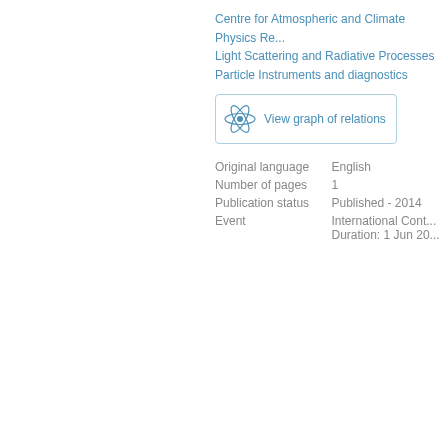Centre for Atmospheric and Climate Physics Re...
Light Scattering and Radiative Processes
Particle Instruments and diagnostics
[Figure (other): Button with atom icon and text 'View graph of relations']
| Original language | English |
| Number of pages | 1 |
| Publication status | Published - 2014 |
| Event | International Cont...
Duration: 1 Jun 20... |